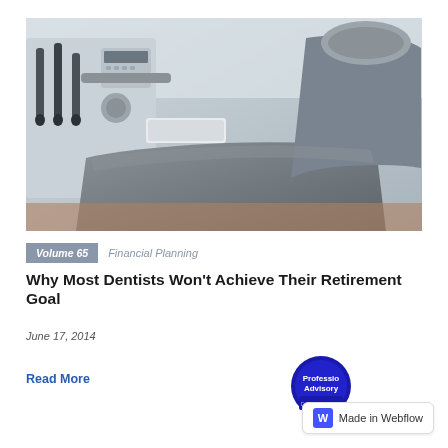[Figure (photo): Close-up photo of a dental office chair and dental equipment including instruments and a control panel in the background]
Volume 65   Financial Planning
Why Most Dentists Won't Achieve Their Retirement Goal
June 17, 2014
Read More